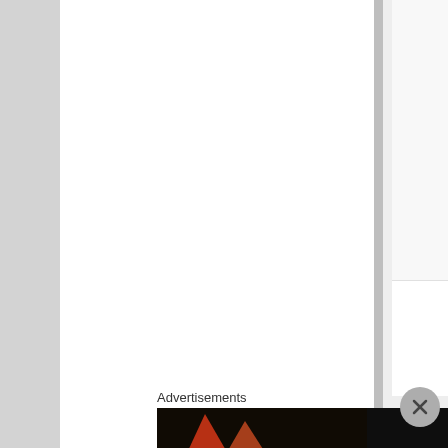i
m
"
[Figure (illustration): Blue star icon with 'Like' text below it, inside a nested grey/white panel]
[Figure (illustration): Avatar image of a pink cartoon character (eightyape avatar) on pink background]
eightyape on February 20, 2016 at 10:33
Advertisements
[Figure (screenshot): Seamless food ordering advertisement banner showing pizza slices and 'seamless ORDER NOW' text on dark background]